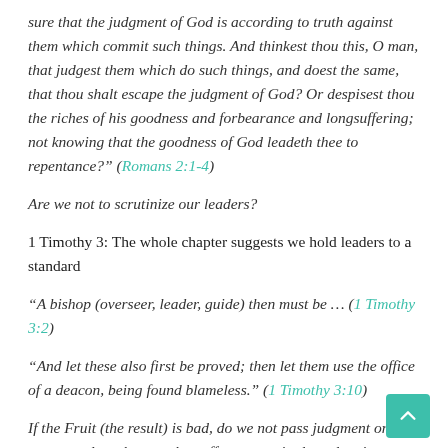sure that the judgment of God is according to truth against them which commit such things. And thinkest thou this, O man, that judgest them which do such things, and doest the same, that thou shalt escape the judgment of God? Or despisest thou the riches of his goodness and forbearance and longsuffering; not knowing that the goodness of God leadeth thee to repentance?" (Romans 2:1-4)
Are we not to scrutinize our leaders?
1 Timothy 3: The whole chapter suggests we hold leaders to a standard
"A bishop (overseer, leader, guide) then must be … (1 Timothy 3:2)
"And let these also first be proved; then let them use the office of a deacon, being found blameless." (1 Timothy 3:10)
If the Fruit (the result) is bad, do we not pass judgment on the source… does that not then affect our attitude and actions